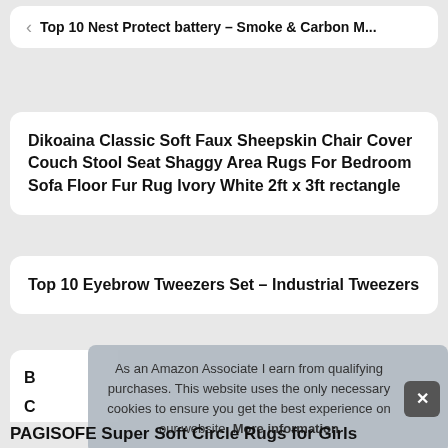Top 10 Nest Protect battery – Smoke & Carbon M...
Dikoaina Classic Soft Faux Sheepskin Chair Cover Couch Stool Seat Shaggy Area Rugs For Bedroom Sofa Floor Fur Rug Ivory White 2ft x 3ft rectangle
Top 10 Eyebrow Tweezers Set – Industrial Tweezers
B
C
As an Amazon Associate I earn from qualifying purchases. This website uses the only necessary cookies to ensure you get the best experience on our website. More information
PAGISOFE Super Soft Circle Rugs for Girls